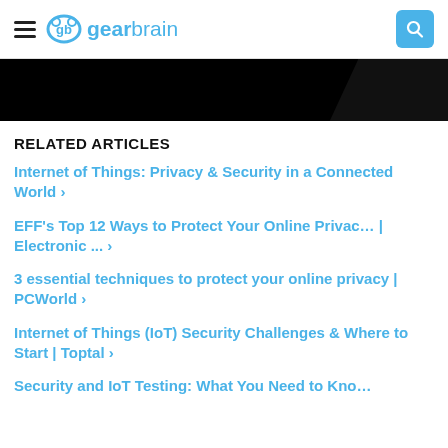gearbrain
[Figure (other): Black banner/image strip across the top of the article content]
RELATED ARTICLES
Internet of Things: Privacy & Security in a Connected World ›
EFF's Top 12 Ways to Protect Your Online Privacy | Electronic ... ›
3 essential techniques to protect your online privacy | PCWorld ›
Internet of Things (IoT) Security Challenges & Where to Start | Toptal ›
Security and IoT Testing: What You Need to Know | BZomblT...